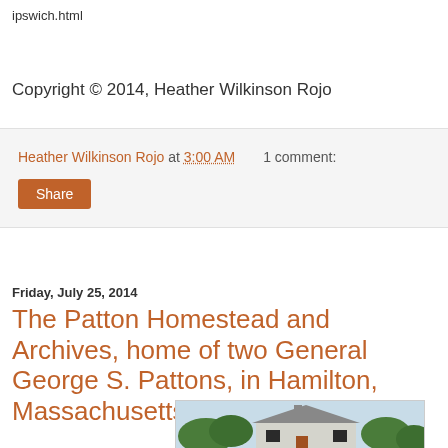ipswich.html
Copyright © 2014, Heather Wilkinson Rojo
Heather Wilkinson Rojo at 3:00 AM    1 comment:
Share
Friday, July 25, 2014
The Patton Homestead and Archives, home of two General George S. Pattons, in Hamilton, Massachusetts
[Figure (photo): Photograph of the Patton Homestead, a white colonial-style house with dark shutters, surrounded by trees under a pale sky.]